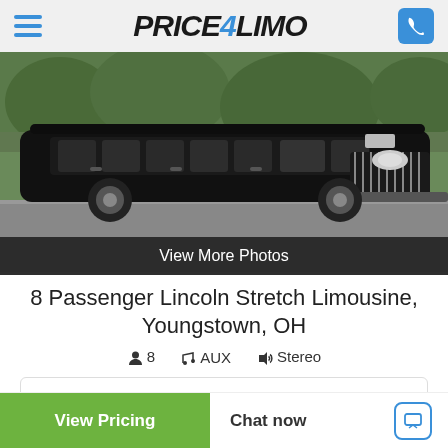Price4Limo
[Figure (photo): Black stretch Lincoln limousine parked outdoors with trees in background]
View More Photos
8 Passenger Lincoln Stretch Limousine, Youngstown, OH
👤 8  🎵 AUX  🔊 Stereo
Make and Models Vary By City. Color Will be Black or White
View Pricing
Chat now